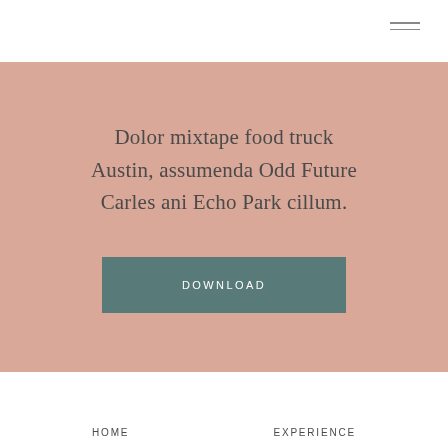[Figure (other): Hamburger menu icon (three horizontal lines) in top right corner]
Dolor mixtape food truck Austin, assumenda Odd Future Carles ani Echo Park cillum.
DOWNLOAD
HOME   EXPERIENCE